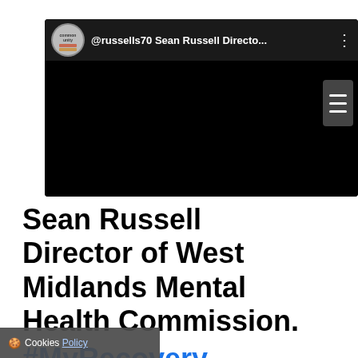[Figure (screenshot): Embedded video player screenshot showing a dark/black video frame with a channel header displaying a circular avatar logo (Common Unity), the handle @russells70 Sean Russell Directo..., and three-dot menu icon. A hamburger menu button appears on the right edge.]
Sean Russell Director of West Midlands Mental Health Commission. #MyRecovery
Cookies Policy